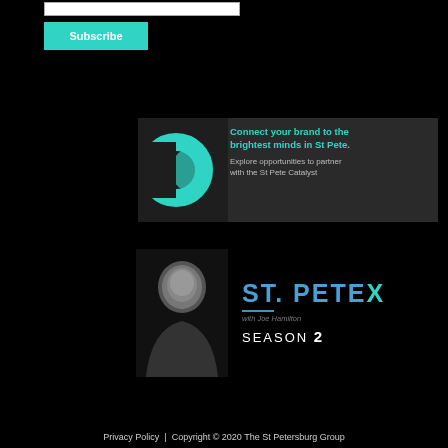[Figure (screenshot): Email input field (partially visible) and a teal Subscribe button on black background]
[Figure (infographic): Dark advertisement banner with teal circular logo/icon on left. Text reads: 'Connect your brand to the brightest minds in St Pete. Explore opportunities to partner with the St Pete Catalyst']
[Figure (photo): St. Pete X Season 2 promotional image showing a man in black shirt on left and 'ST. PETE X with Joe Hamilton SEASON 2' text in teal/blue on black background]
Privacy Policy  |  Copyright © 2020 The St Petersburg Group